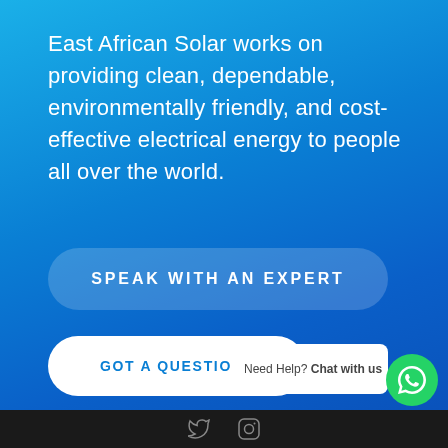East African Solar works on providing clean, dependable, environmentally friendly, and cost-effective electrical energy to people all over the world.
SPEAK WITH AN EXPERT
GOT A QUESTION?
Need Help? Chat with us
[Figure (logo): Green WhatsApp button icon]
Twitter and Instagram social media icons on dark footer bar